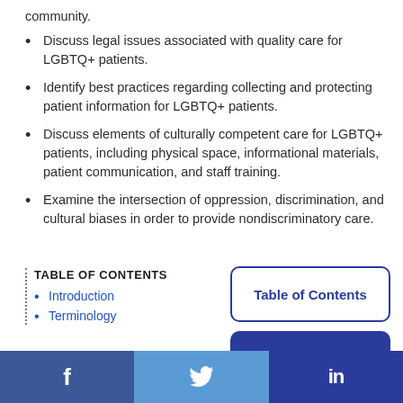community.
Discuss legal issues associated with quality care for LGBTQ+ patients.
Identify best practices regarding collecting and protecting patient information for LGBTQ+ patients.
Discuss elements of culturally competent care for LGBTQ+ patients, including physical space, informational materials, patient communication, and staff training.
Examine the intersection of oppression, discrimination, and cultural biases in order to provide nondiscriminatory care.
TABLE OF CONTENTS
Introduction
Terminology
Table of Contents
Back to Top
f  [Twitter bird]  in